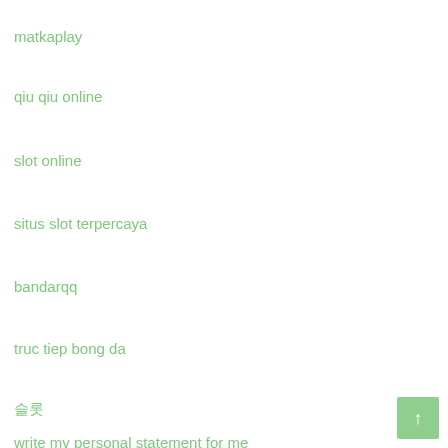matkaplay
qiu qiu online
slot online
situs slot terpercaya
bandarqq
truc tiep bong da
슬롯
write my personal statement for me